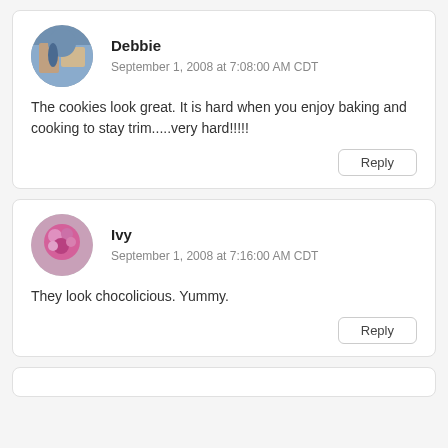Debbie
September 1, 2008 at 7:08:00 AM CDT
The cookies look great. It is hard when you enjoy baking and cooking to stay trim.....very hard!!!!!
Reply
Ivy
September 1, 2008 at 7:16:00 AM CDT
They look chocolicious. Yummy.
Reply